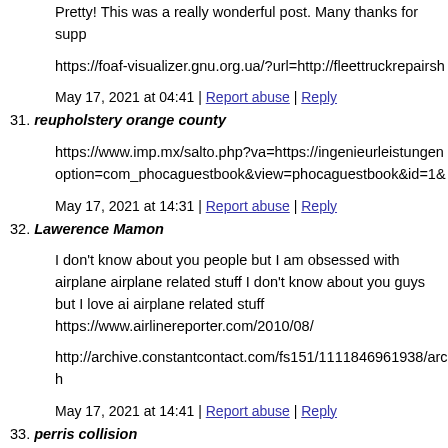Pretty! This was a really wonderful post. Many thanks for supp
https://foaf-visualizer.gnu.org.ua/?url=http://fleettruckrepairsh
May 17, 2021 at 04:41 | Report abuse | Reply
31. reupholstery orange county
https://www.imp.mx/salto.php?va=https://ingenieurleistungen option=com_phocaguestbook&view=phocaguestbook&id=1&
May 17, 2021 at 14:31 | Report abuse | Reply
32. Lawerence Mamon
I don't know about you people but I am obsessed with airplane airplane related stuff I don't know about you guys but I love ai airplane related stuff https://www.airlinereporter.com/2010/08/
http://archive.constantcontact.com/fs151/1111846961938/arch
May 17, 2021 at 14:41 | Report abuse | Reply
33. perris collision
http://home.guanzhuang.org/link.php?url=https://ocrvcenter.co
May 18, 2021 at 12:05 | Report abuse | Reply
34. Senior Adult Care